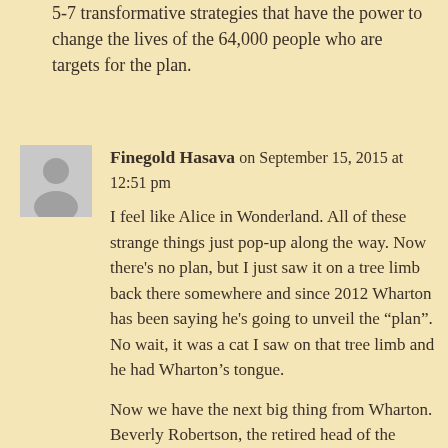5-7 transformative strategies that have the power to change the lives of the 64,000 people who are targets for the plan.
Finegold Hasava on September 15, 2015 at 12:51 pm
I feel like Alice in Wonderland. All of these strange things just pop-up along the way. Now there’s no plan, but I just saw it on a tree limb back there somewhere and since 2012 Wharton has been saying he’s going to unveil the “plan”. No wait, it was a cat I saw on that tree limb and he had Wharton’s tongue.
Now we have the next big thing from Wharton. Beverly Robertson, the retired head of the National Civil Rights Museum, will